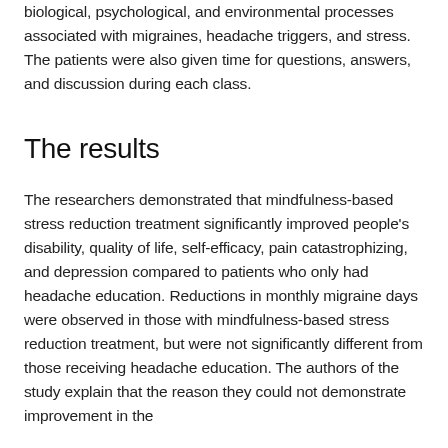biological, psychological, and environmental processes associated with migraines, headache triggers, and stress. The patients were also given time for questions, answers, and discussion during each class.
The results
The researchers demonstrated that mindfulness-based stress reduction treatment significantly improved people's disability, quality of life, self-efficacy, pain catastrophizing, and depression compared to patients who only had headache education. Reductions in monthly migraine days were observed in those with mindfulness-based stress reduction treatment, but were not significantly different from those receiving headache education. The authors of the study explain that the reason they could not demonstrate improvement in the